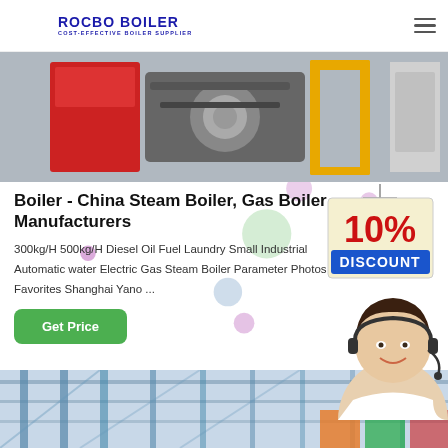ROCBO BOILER - COST-EFFECTIVE BOILER SUPPLIER
[Figure (photo): Industrial boiler equipment — red and grey machinery with gas pipes and yellow metal frame supports]
Boiler - China Steam Boiler, Gas Boiler Manufacturers
300kg/H 500kg/H Diesel Oil Fuel Laundry Small Industrial Automatic water Electric Gas Steam Boiler Parameter Photos Favorites Shanghai Yano ...
[Figure (photo): 10% DISCOUNT promotional badge hanging sign]
[Figure (photo): Customer service representative woman wearing headset smiling]
[Figure (photo): Industrial facility interior with blue steel structures and equipment]